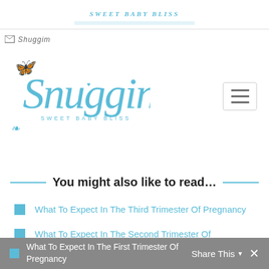SWEET BABY BLISS
Shop Snuggim
[Figure (logo): Snuggim Sweet Baby Bliss script logo in light blue with decorative swirls and small bee/butterfly icon]
You might also like to read…
What To Expect In The Third Trimester Of Pregnancy
What To Expect In The Second Trimester Of Pregnancy
What To Expect In The First Trimester Of Pregnancy
Share This ×